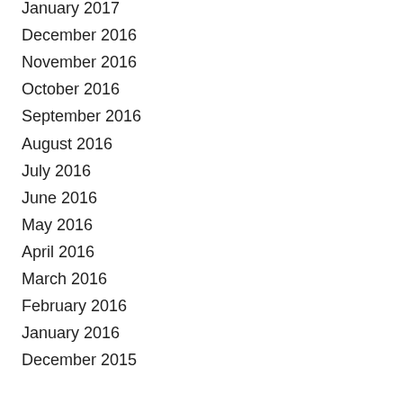January 2017
December 2016
November 2016
October 2016
September 2016
August 2016
July 2016
June 2016
May 2016
April 2016
March 2016
February 2016
January 2016
December 2015